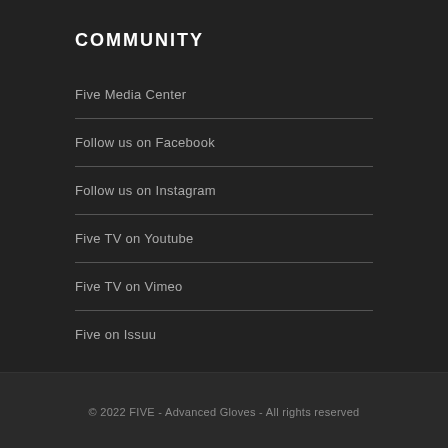COMMUNITY
Five Media Center
Follow us on Facebook
Follow us on Instagram
Five TV on Youtube
Five TV on Vimeo
Five on Issuu
© 2022 FIVE - Advanced Gloves - All rights reserved